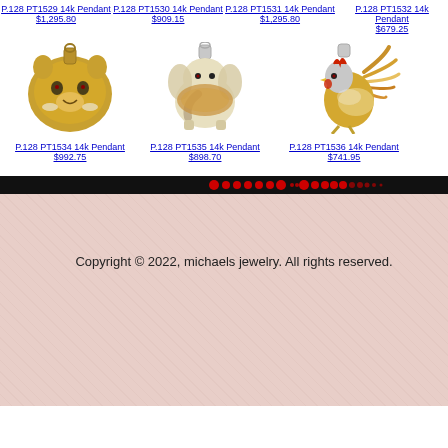P.128 PT1529 14k Pendant $1,295.80
P.128 PT1530 14k Pendant $909.15
P.128 PT1531 14k Pendant $1,295.80
P.128 PT1532 14k Pendant $679.25
[Figure (photo): 14k gold tiger head pendant with diamonds]
P.128 PT1534 14k Pendant $992.75
[Figure (photo): 14k gold elephant pendant with diamonds]
P.128 PT1535 14k Pendant $898.70
[Figure (photo): 14k gold rooster pendant with diamonds]
P.128 PT1536 14k Pendant $741.95
Copyright © 2022, michaels jewelry. All rights reserved.